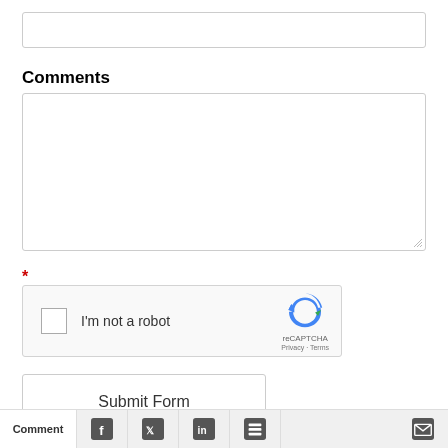[Figure (screenshot): Empty text input field at the top of the form]
Comments
[Figure (screenshot): Large empty textarea for comments with resize handle]
*
[Figure (screenshot): reCAPTCHA widget with checkbox labeled 'I'm not a robot' and reCAPTCHA logo with Privacy and Terms links]
[Figure (screenshot): Submit Form button]
Comment | Facebook | Twitter | LinkedIn | Buffer | Email